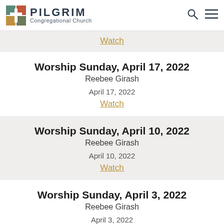PILGRIM Congregational Church
Watch (partial/truncated entry above)
Worship Sunday, April 17, 2022
Reebee Girash
April 17, 2022
Watch
Worship Sunday, April 10, 2022
Reebee Girash
April 10, 2022
Watch
Worship Sunday, April 3, 2022
Reebee Girash
April 3, 2022
Watch
Worship Sunday, March 27, 2022
Reebee Girash
March 27, 2022